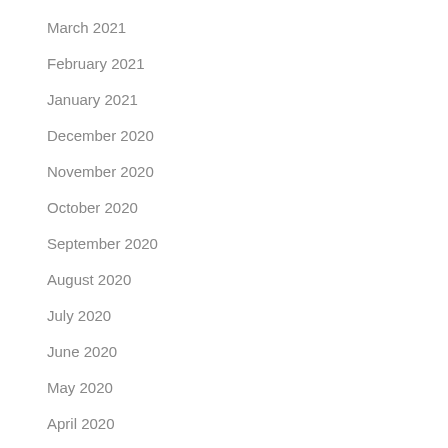March 2021
February 2021
January 2021
December 2020
November 2020
October 2020
September 2020
August 2020
July 2020
June 2020
May 2020
April 2020
March 2020
February 2020
January 2020